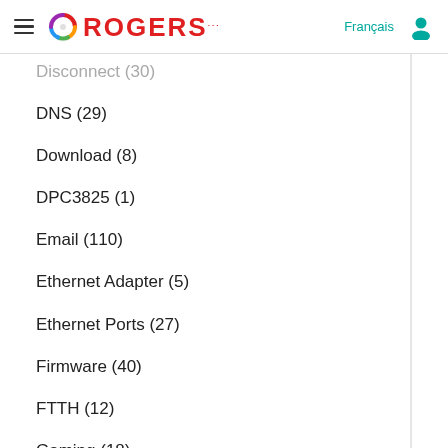Rogers - Français
Disconnect (30)
DNS (29)
Download (8)
DPC3825 (1)
Email (110)
Ethernet Adapter (5)
Ethernet Ports (27)
Firmware (40)
FTTH (12)
Gaming (18)